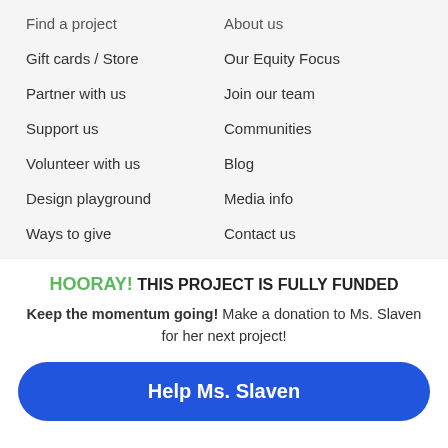Find a project
About us
Gift cards / Store
Our Equity Focus
Partner with us
Join our team
Support us
Communities
Volunteer with us
Blog
Design playground
Media info
Ways to give
Contact us
HOORAY! THIS PROJECT IS FULLY FUNDED
Keep the momentum going! Make a donation to Ms. Slaven for her next project!
Help Ms. Slaven